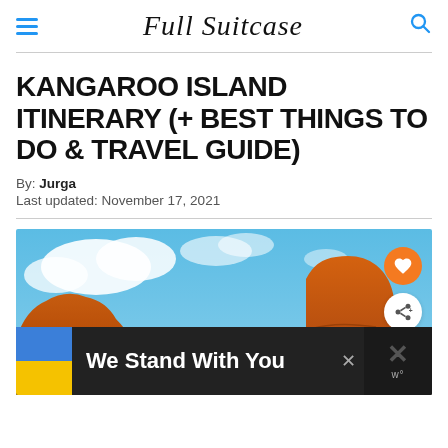Full Suitcase
KANGAROO ISLAND ITINERARY (+ BEST THINGS TO DO & TRAVEL GUIDE)
By: Jurga
Last updated: November 17, 2021
[Figure (photo): Rocky orange sandstone formations against a bright blue sky with white clouds — Kangaroo Island landscape photo. Orange heart button and white share button overlay on right side.]
We Stand With You